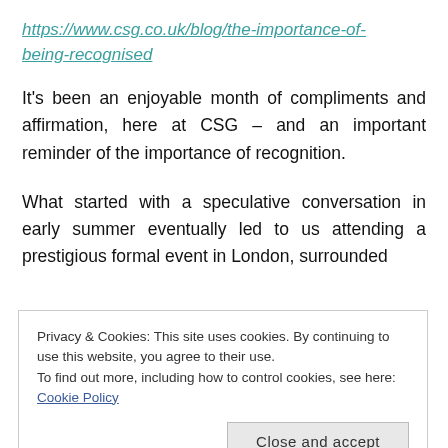https://www.csg.co.uk/blog/the-importance-of-being-recognised
It's been an enjoyable month of compliments and affirmation, here at CSG – and an important reminder of the importance of recognition.
What started with a speculative conversation in early summer eventually led to us attending a prestigious formal event in London, surrounded
Privacy & Cookies: This site uses cookies. By continuing to use this website, you agree to their use.
To find out more, including how to control cookies, see here: Cookie Policy
Close and accept
Chamber of Commerce as well as others around